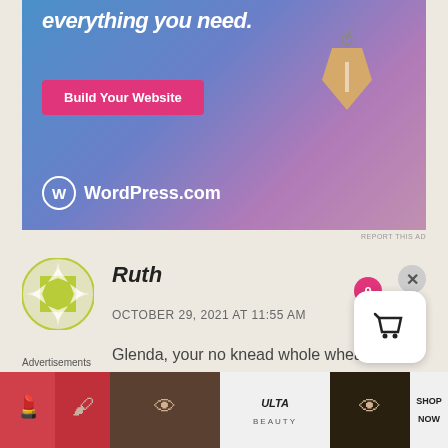[Figure (screenshot): WordPress.com advertisement banner with gradient blue-purple background, 'everything you need.' text, pink 'Build Your Website' button, hanging price tag image, and WordPress.com logo at bottom left]
REPORT THIS AD
Ruth
OCTOBER 29, 2021 AT 11:55 AM
Glenda, your no knead whole wheat
Advertisements
[Figure (screenshot): Bottom advertisement strip showing Ulta Beauty makeup advertisement with close-up images of lips, eyes, ULTA beauty logo, and 'SHOP NOW' text]